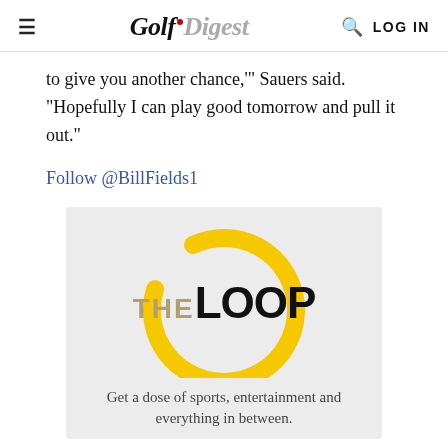Golf Digest — LOG IN
to give you another chance,'" Sauers said. "Hopefully I can play good tomorrow and pull it out."
Follow @BillFields1
[Figure (logo): The Loop logo — a yellow circle arc with 'THE' in tan/gold and 'LOOP' in black bold text, on a light gray background. Subtext: 'Get a dose of sports, entertainment and everything in between.']